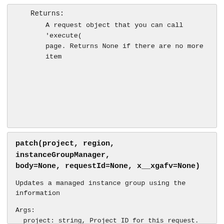Returns:
    A request object that you can call 'execute(
    page. Returns None if there are no more item
patch(project, region, instanceGroupManager, body=None, requestId=None, x__xgafv=None)
Updates a managed instance group using the information
Args:
  project: string, Project ID for this request. (requi
  region: string, Name of the region scoping this requ
  instanceGroupManager: string, The name of the instan
  body: object, The request body.
    The object takes the form of:
{ # Represents a Managed Instance Group resource. An i
  "autoHealingPolicies": [ # The autohealing policy fo
    {
      "healthCheck": "A String", # The URL for the hea
      "initialDelaySec": 42, # The number of seconds t